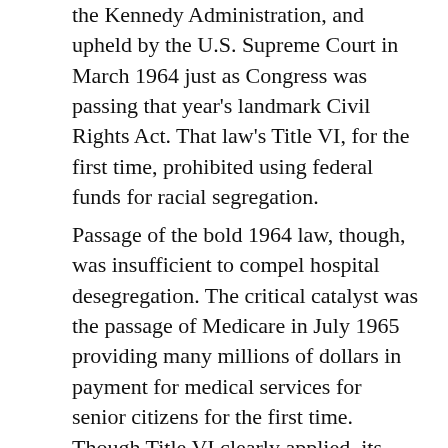the Kennedy Administration, and upheld by the U.S. Supreme Court in March 1964 just as Congress was passing that year's landmark Civil Rights Act. That law's Title VI, for the first time, prohibited using federal funds for racial segregation.
Passage of the bold 1964 law, though, was insufficient to compel hospital desegregation. The critical catalyst was the passage of Medicare in July 1965 providing many millions of dollars in payment for medical services for senior citizens for the first time. Though Title VI clearly applied, its remedies and enforcement powers were meager. The question became: Would President Lyndon Johnson enforce Title VI compliance in